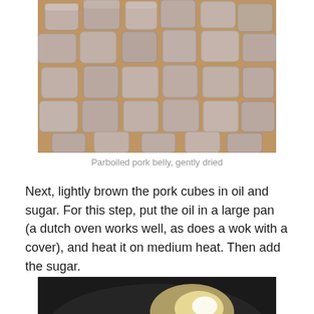[Figure (photo): Close-up photo of parboiled pork belly pieces, cut into cubes, gently dried, spread out on a wooden surface]
Parboiled pork belly, gently dried
Next, lightly brown the pork cubes in oil and sugar. For this step, put the oil in a large pan (a dutch oven works well, as does a wok with a cover), and heat it on medium heat. Then add the sugar.
[Figure (photo): Photo of a dark pan or wok on medium heat with oil and sugar being added, shown from above]